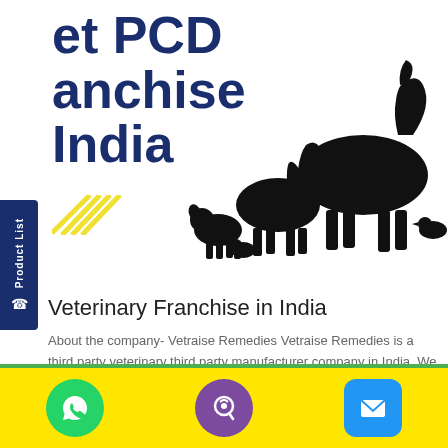[Figure (illustration): Silhouette illustration of various farm and domestic animals including horses, dogs, ducks, and other animals lined up]
Veterinary Franchise in India
About the company- Vetraise Remedies Vetraise Remedies is a third party veterinary third party manufacturer company in India. We are located in Panchkula region. So, we've [...]
[Figure (infographic): Bottom toolbar with WhatsApp, Viber, and Mail icons on yellow background]